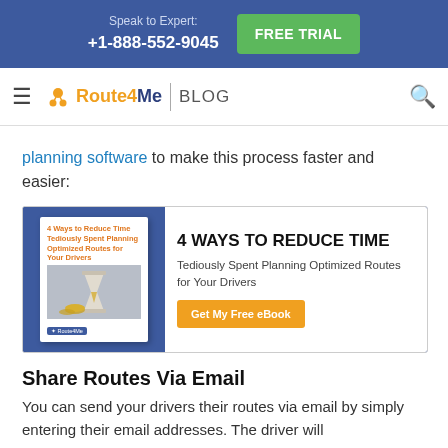Speak to Expert: +1-888-552-9045  FREE TRIAL
Route4Me | BLOG
planning software to make this process faster and easier:
[Figure (infographic): Ad banner for '4 Ways to Reduce Time Tediously Spent Planning Optimized Routes for Your Drivers' eBook with a book cover showing an hourglass and coins, and a 'Get My Free eBook' button.]
Share Routes Via Email
You can send your drivers their routes via email by simply entering their email addresses. The driver will